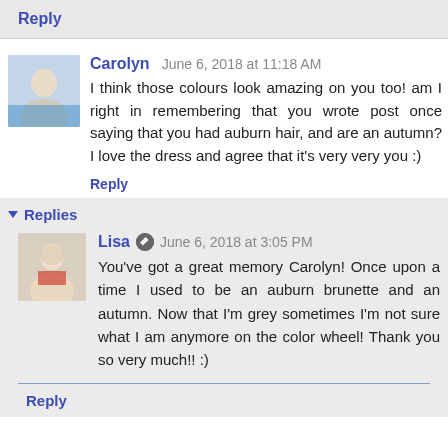Reply
Carolyn  June 6, 2018 at 11:18 AM
I think those colours look amazing on you too! am I right in remembering that you wrote post once saying that you had auburn hair, and are an autumn? I love the dress and agree that it's very very you :)
Reply
Replies
Lisa  June 6, 2018 at 3:05 PM
You've got a great memory Carolyn! Once upon a time I used to be an auburn brunette and an autumn. Now that I'm grey sometimes I'm not sure what I am anymore on the color wheel! Thank you so very much!! :)
Reply